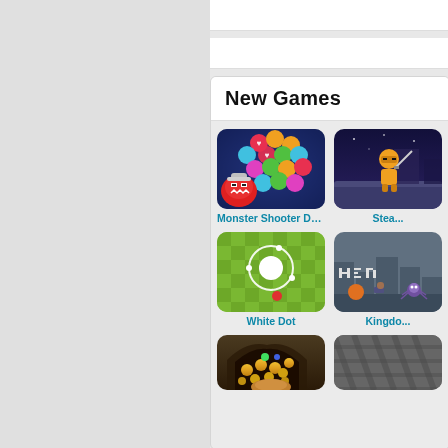New Games
[Figure (screenshot): Monster Shooter Defe... game thumbnail - colorful bubble shooter game with red monster and colorful orbs on dark blue background]
Monster Shooter Defe...
[Figure (screenshot): Stea... game thumbnail - orange ninja character on purple/blue platform background]
Stea...
[Figure (screenshot): White Dot game thumbnail - white circle and dot on green checkered background]
White Dot
[Figure (screenshot): Kingdo... game thumbnail - pixel art kingdom game on dark background]
Kingdo...
[Figure (screenshot): Gold coins game thumbnail - golden coins and gems in stone archway]
[Figure (screenshot): Dark game thumbnail - dark/grey textured background]